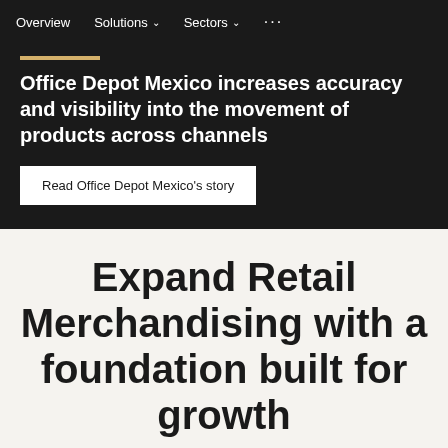Overview   Solutions   Sectors   ...
Office Depot Mexico increases accuracy and visibility into the movement of products across channels
Read Office Depot Mexico's story
Expand Retail Merchandising with a foundation built for growth